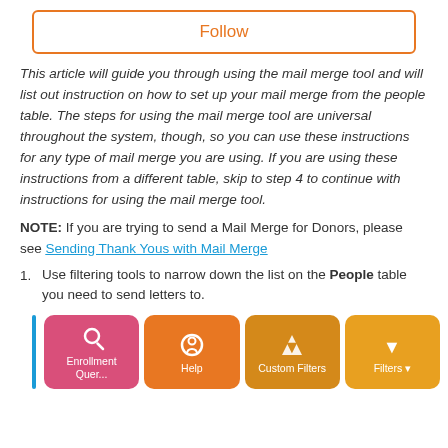Follow
This article will guide you through using the mail merge tool and will list out instruction on how to set up your mail merge from the people table. The steps for using the mail merge tool are universal throughout the system, though, so you can use these instructions for any type of mail merge you are using. If you are using these instructions from a different table, skip to step 4 to continue with instructions for using the mail merge tool.
NOTE: If you are trying to send a Mail Merge for Donors, please see Sending Thank Yous with Mail Merge
Use filtering tools to narrow down the list on the People table you need to send letters to.
[Figure (screenshot): Four colored button cards showing Enrollment Query (pink), Help (orange), Custom Filters (dark orange), and Filters (yellow-orange), with a blue left border indicator.]